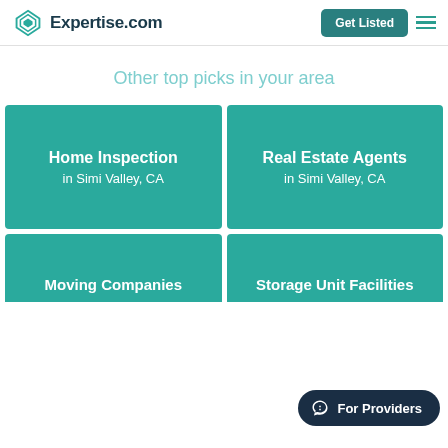Expertise.com | Get Listed
Other top picks in your area
[Figure (infographic): Teal card: Home Inspection in Simi Valley, CA]
[Figure (infographic): Teal card: Real Estate Agents in Simi Valley, CA]
[Figure (infographic): Teal card (partial): Moving Companies]
[Figure (infographic): Teal card (partial): Storage Unit Facilities]